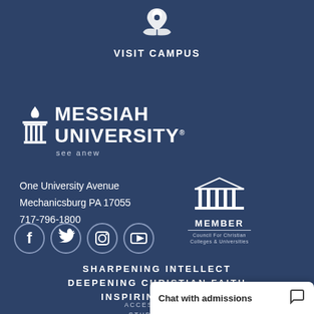[Figure (logo): Location pin icon above open book / hands icon in white]
VISIT CAMPUS
[Figure (logo): Messiah University logo with flame and pillars icon, text MESSIAH UNIVERSITY, tagline see anew]
One University Avenue
Mechanicsburg PA 17055
717-796-1800
[Figure (logo): Social media icons: Facebook, Twitter, Instagram, YouTube]
[Figure (logo): MEMBER Council For Christian Colleges & Universities logo with pillared building]
SHARPENING INTELLECT
DEEPENING CHRISTIAN FAITH
INSPIRING ACTION
ACCESSIBILITY
STUDENT C…
Chat with admissions